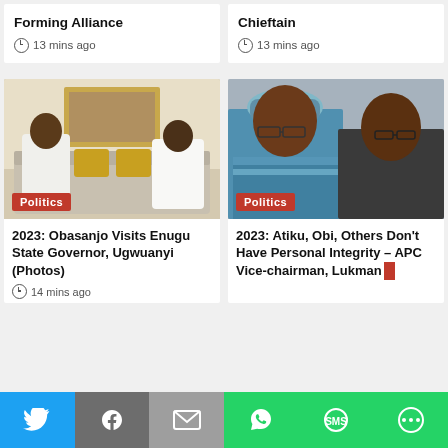Forming Alliance
13 mins ago
Chieftain
13 mins ago
[Figure (photo): Two men in white sitting on a sofa with gold cushions and a gold-framed picture on the wall]
Politics
2023: Obasanjo Visits Enugu State Governor, Ugwuanyi (Photos)
14 mins ago
[Figure (photo): Two men, one wearing a colorful traditional attire and cap, and another in dark clothing, smiling]
Politics
2023: Atiku, Obi, Others Don't Have Personal Integrity – APC Vice-chairman, Lukman
[Figure (infographic): Social share bar with Twitter, Facebook, Email, WhatsApp, SMS, and More buttons]